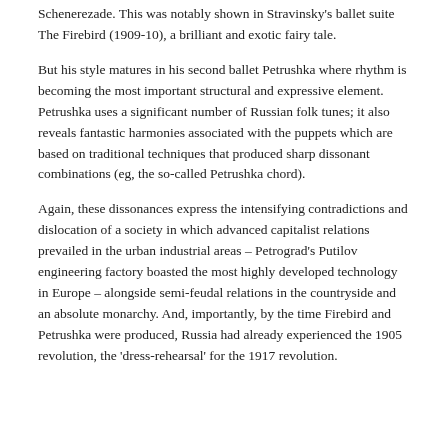Schenerezade. This was notably shown in Stravinsky's ballet suite The Firebird (1909-10), a brilliant and exotic fairy tale.
But his style matures in his second ballet Petrushka where rhythm is becoming the most important structural and expressive element. Petrushka uses a significant number of Russian folk tunes; it also reveals fantastic harmonies associated with the puppets which are based on traditional techniques that produced sharp dissonant combinations (eg, the so-called Petrushka chord).
Again, these dissonances express the intensifying contradictions and dislocation of a society in which advanced capitalist relations prevailed in the urban industrial areas – Petrograd's Putilov engineering factory boasted the most highly developed technology in Europe – alongside semi-feudal relations in the countryside and an absolute monarchy. And, importantly, by the time Firebird and Petrushka were produced, Russia had already experienced the 1905 revolution, the 'dress-rehearsal' for the 1917 revolution.